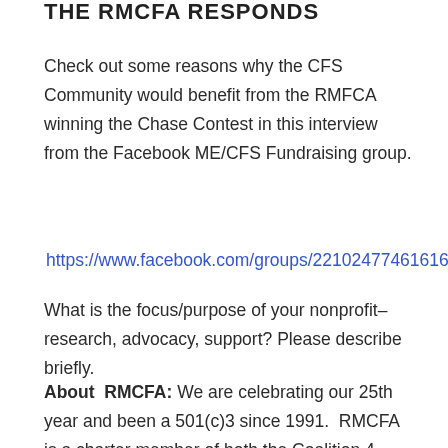THE RMCFA RESPONDS
Check out some reasons why the CFS Community would benefit from the RMFCA winning the Chase Contest in this interview from the Facebook ME/CFS Fundraising group.
https://www.facebook.com/groups/221024774616166/,
What is the focus/purpose of your nonprofit–research, advocacy, support? Please describe briefly.
About RMCFA: We are celebrating our 25th year and been a 501(c)3 since 1991. RMCFA is a charter member of both the Coalition 4 ME/CFS and Fibromyalgia. Our mission is Advocate for research, Awareness for understanding, Educate for patient care, Support for